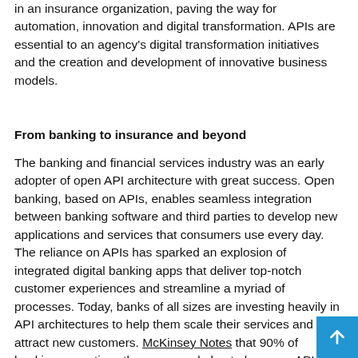in an insurance organization, paving the way for automation, innovation and digital transformation. APIs are essential to an agency's digital transformation initiatives and the creation and development of innovative business models.
From banking to insurance and beyond
The banking and financial services industry was an early adopter of open API architecture with great success. Open banking, based on APIs, enables seamless integration between banking software and third parties to develop new applications and services that consumers use every day. The reliance on APIs has sparked an explosion of integrated digital banking apps that deliver top-notch customer experiences and streamline a myriad of processes. Today, banks of all sizes are investing heavily in API architectures to help them scale their services and attract new customers. McKinsey Notes that 90% of banking executives they surveyed plan to leverage APIs to generate revenue with existing customers, and 75% will use APIs to generate new customer relationships.